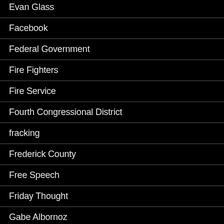Evan Glass
Facebook
Federal Government
Fire Fighters
Fire Service
Fourth Congressional District
fracking
Frederick County
Free Speech
Friday Thought
Gabe Albornoz
Gail Bates
Gaithersburg